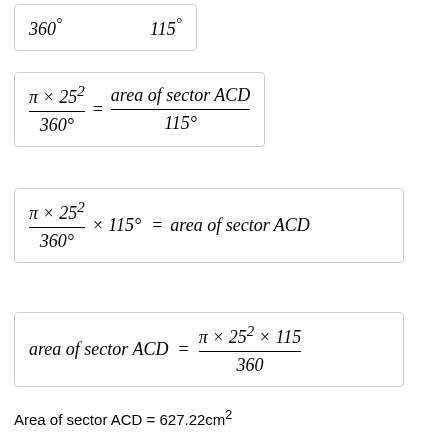Area of sector ACD = 627.22cm2